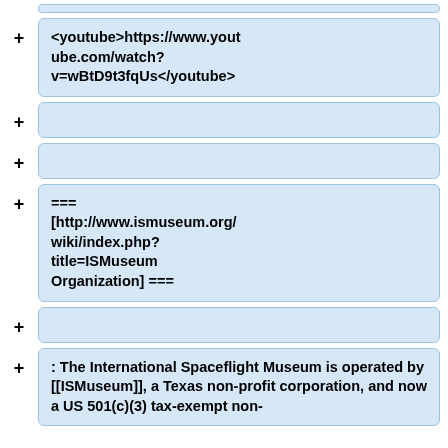<youtube>https://www.youtube.com/watch?v=wBtD9t3fqUs</youtube>
=== [http://www.ismuseum.org/wiki/index.php?title=ISMuseum Organization] ===
: The International Spaceflight Museum is operated by [[ISMuseum]], a Texas non-profit corporation, and now a US 501(c)(3) tax-exempt non-